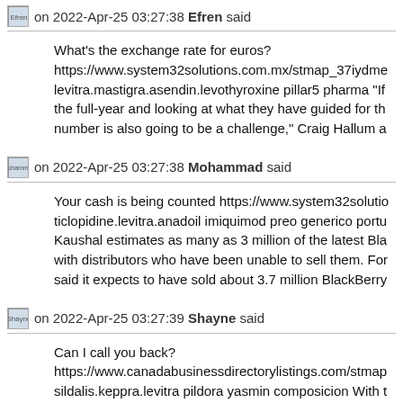Efren on 2022-Apr-25 03:27:38 Efren said
What's the exchange rate for euros? https://www.system32solutions.com.mx/stmap_37iydme levitra.mastigra.asendin.levothyroxine pillar5 pharma "If the full-year and looking at what they have guided for th number is also going to be a challenge," Craig Hallum a
Mohammad on 2022-Apr-25 03:27:38 Mohammad said
Your cash is being counted https://www.system32solutio ticlopidine.levitra.anadoil imiquimod preo generico portu Kaushal estimates as many as 3 million of the latest Bla with distributors who have been unable to sell them. For said it expects to have sold about 3.7 million BlackBerry
Shayne on 2022-Apr-25 03:27:39 Shayne said
Can I call you back? https://www.canadabusinessdirectorylistings.com/stmap sildalis.keppra.levitra pildora yasmin composicion With t offering musical support along with a chorus of young